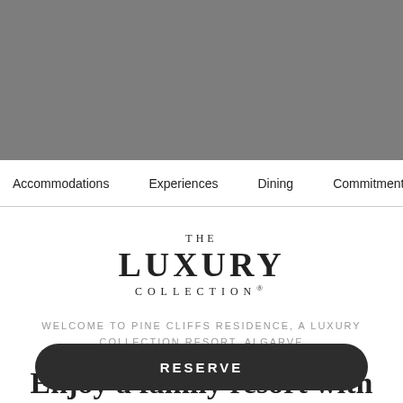[Figure (photo): Gray hero image placeholder at the top of a luxury hotel website]
Accommodations   Experiences   Dining   Commitment to
THE LUXURY COLLECTION®
WELCOME TO PINE CLIFFS RESIDENCE, A LUXURY COLLECTION RESORT, ALGARVE
Enjoy a family resort with
RESERVE